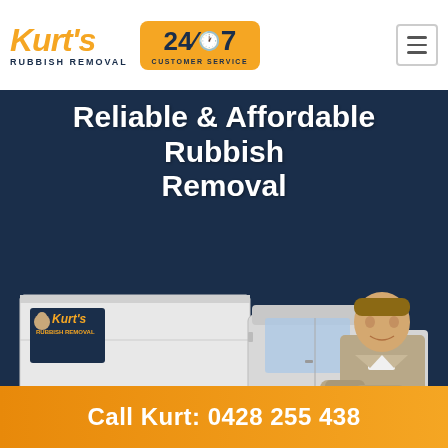[Figure (logo): Kurt's Rubbish Removal logo with orange italic text 'Kurt's' and subtitle 'RUBBISH REMOVAL' in dark navy]
[Figure (logo): 24/7 Customer Service badge with orange background, dark navy text showing '24/7' with clock icon and 'CUSTOMER SERVICE' subtitle]
Reliable & Affordable Rubbish Removal
[Figure (photo): Kurt's Rubbish Removal truck (white with orange branding) parked, and a smiling man in a grey uniform with arms crossed, against a dark navy background]
Call Kurt: 0428 255 438